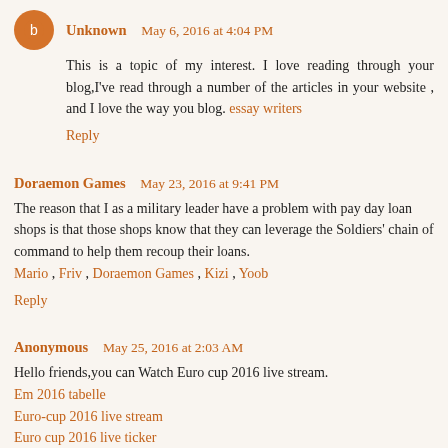Unknown May 6, 2016 at 4:04 PM
This is a topic of my interest. I love reading through your blog,I've read through a number of the articles in your website , and I love the way you blog. essay writers
Reply
Doraemon Games May 23, 2016 at 9:41 PM
The reason that I as a military leader have a problem with pay day loan shops is that those shops know that they can leverage the Soldiers' chain of command to help them recoup their loans.
Mario , Friv , Doraemon Games , Kizi , Yoob
Reply
Anonymous May 25, 2016 at 2:03 AM
Hello friends,you can Watch Euro cup 2016 live stream.
Em 2016 tabelle
Euro-cup 2016 live stream
Euro cup 2016 live ticker